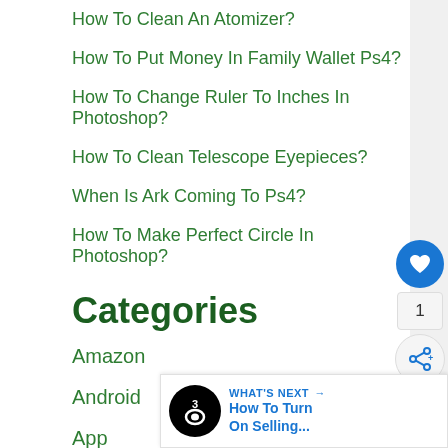How To Clean An Atomizer?
How To Put Money In Family Wallet Ps4?
How To Change Ruler To Inches In Photoshop?
How To Clean Telescope Eyepieces?
When Is Ark Coming To Ps4?
How To Make Perfect Circle In Photoshop?
Categories
Amazon
Android
App
Car